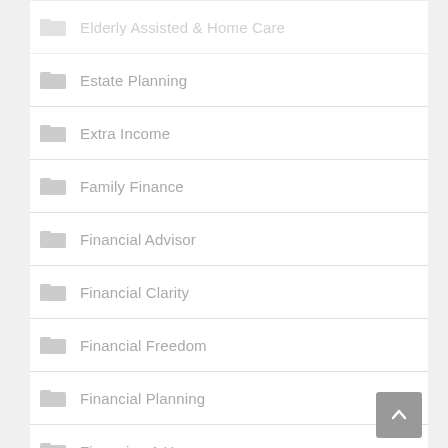Elderly Assisted & Home Care
Estate Planning
Extra Income
Family Finance
Financial Advisor
Financial Clarity
Financial Freedom
Financial Planning
Financing A Home
Find An Apartment
Finishing Your Degree
First Time Home Buyers